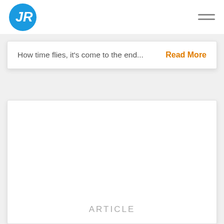JR logo and navigation menu
How time flies, it's come to the end...
Read More
[Figure (other): Empty white card with ARTICLE label at the bottom]
ARTICLE